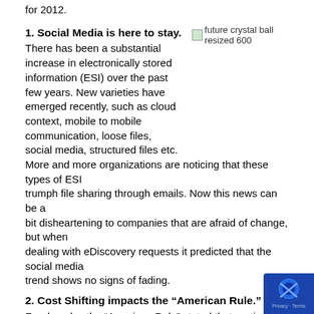for 2012.
[Figure (illustration): future crystal ball resized 600 - image placeholder]
1. Social Media is here to stay.
There has been a substantial increase in electronically stored information (ESI) over the past few years. New varieties have emerged recently, such as cloud context, mobile to mobile communication, loose files, social media, structured files etc. More and more organizations are noticing that these types of ESI trumph file sharing through emails. Now this news can be a bit disheartening to companies that are afraid of change, but when dealing with eDiscovery requests it predicted that the social media trend shows no signs of fading.
2. Cost Shifting impacts the “American Rule.”
For decades the “American Rule” stated that parties need to pay for their own production costs. Well, now more and more c are considering eDiscovery vendors as the “21st century equivalent of making copies.” It is predicted that in 2012 we will